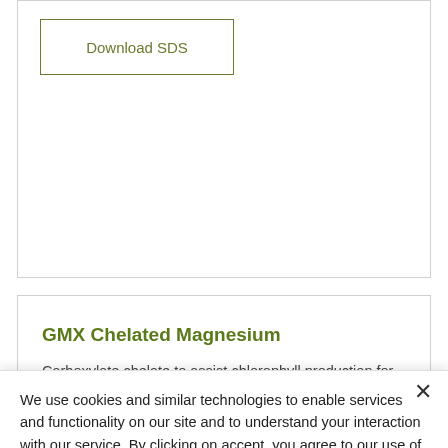Download SDS
GMX Chelated Magnesium
Carboxylate chelate to assist chlorophyll production for lasting green appearance.
We use cookies and similar technologies to enable services and functionality on our site and to understand your interaction with our service. By clicking on accept, you agree to our use of such technologies for marketing and analytics. See Privacy Policy
Cookie Settings
Accept